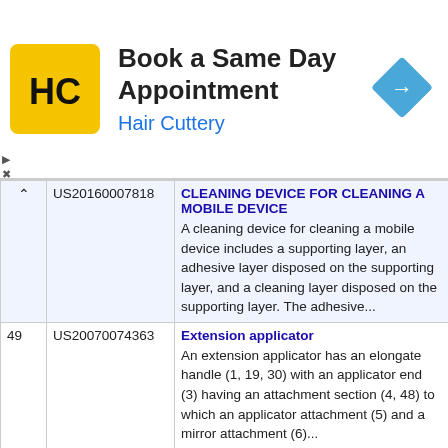[Figure (illustration): Hair Cuttery advertisement banner with logo (yellow square with HC letters), text 'Book a Same Day Appointment' and 'Hair Cuttery', and a blue diamond navigation icon on the right.]
| # | Patent Number | Title / Abstract |
| --- | --- | --- |
| ^ | US20160007818 | CLEANING DEVICE FOR CLEANING A MOBILE DEVICE
A cleaning device for cleaning a mobile device includes a supporting layer, an adhesive layer disposed on the supporting layer, and a cleaning layer disposed on the supporting layer. The adhesive... |
| 49 | US20070074363 | Extension applicator
An extension applicator has an elongate handle (1, 19, 30) with an applicator end (3) having an attachment section (4, 48) to which an applicator attachment (5) and a mirror attachment (6)... |
| 50 | US20160009093 | SPLITABLE STAPLE FIBER NON-WOVEN USABLE IN PRINTER MACHINE CLEANING APPLICATIONS
A non-woven textile constructed using |